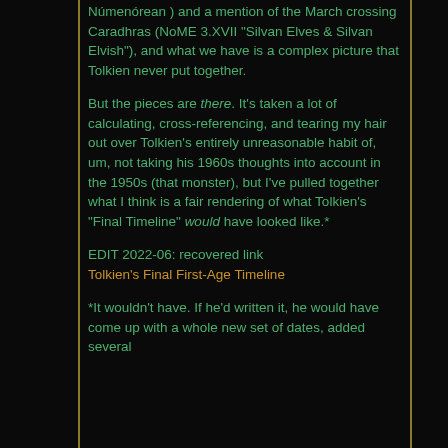Númenórean ) and a mention of the March crossing Caradhras (NoME 3.XVII "Silvan Elves & Silvan Elvish"), and what we have is a complex picture that Tolkien never put together.
But the pieces are there. It's taken a lot of calculating, cross-referencing, and tearing my hair out over Tolkien's entirely unreasonable habit of, um, not taking his 1960s thoughts into account in the 1950s (that monster), but I've pulled together what I think is a fair rendering of what Tolkien's "Final Timeline" would have looked like.*
EDIT 2022-06: recovered link Tolkien's Final First-Age Timeline
*It wouldn't have. If he'd written it, he would have come up with a whole new set of dates, added several